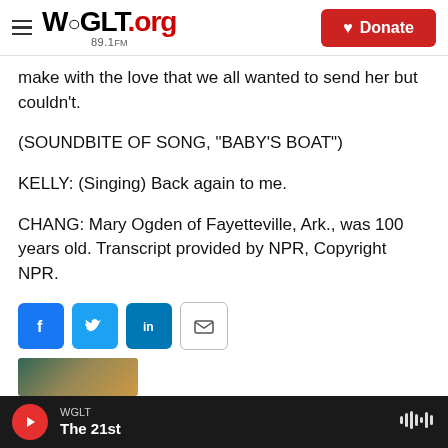WGLT.org 89.1FM | Donate
make with the love that we all wanted to send her but couldn't.
(SOUNDBITE OF SONG, "BABY'S BOAT")
KELLY: (Singing) Back again to me.
CHANG: Mary Ogden of Fayetteville, Ark., was 100 years old. Transcript provided by NPR, Copyright NPR.
[Figure (other): Social sharing buttons: Facebook, Twitter, LinkedIn, Email]
WGLT The 21st